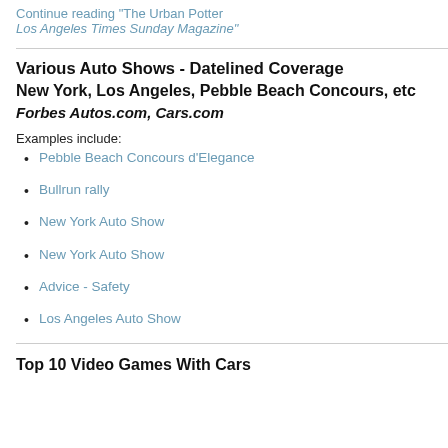Continue reading "The Urban Potter Los Angeles Times Sunday Magazine"
Various Auto Shows - Datelined Coverage
New York, Los Angeles, Pebble Beach Concours, etc
Forbes Autos.com, Cars.com
Examples include:
Pebble Beach Concours d'Elegance
Bullrun rally
New York Auto Show
New York Auto Show
Advice - Safety
Los Angeles Auto Show
Top 10 Video Games With Cars